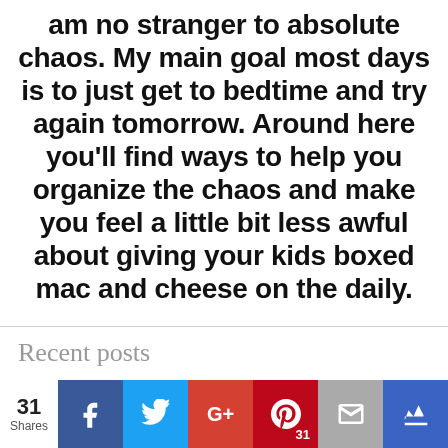am no stranger to absolute chaos. My main goal most days is to just get to bedtime and try again tomorrow. Around here you'll find ways to help you organize the chaos and make you feel a little bit less awful about giving your kids boxed mac and cheese on the daily.
Recent posts
[Figure (infographic): Social share bar with 31 shares count, Facebook (blue), Twitter (light blue), Google+ (red-orange), Pinterest (dark red) with 31 count, Email (gray), and an unknown (dark blue crown icon) buttons.]